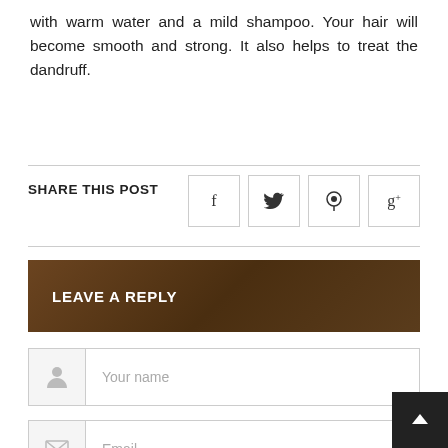with warm water and a mild shampoo. Your hair will become smooth and strong. It also helps to treat the dandruff.
SHARE THIS POST
[Figure (infographic): Social media share icons: Facebook (f), Twitter (bird), Pinterest (p), Google+ (g+)]
LEAVE A REPLY
Your name
Email
Homepage